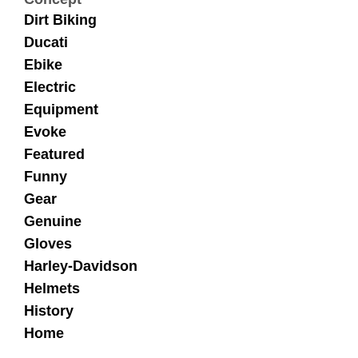Concept
Dirt Biking
Ducati
Ebike
Electric
Equipment
Evoke
Featured
Funny
Gear
Genuine
Gloves
Harley-Davidson
Helmets
History
Home